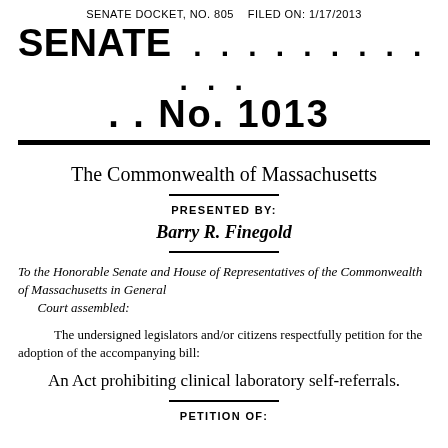SENATE DOCKET, NO. 805    FILED ON: 1/17/2013
SENATE . . . . . . . . . . . . . . . No. 1013
The Commonwealth of Massachusetts
PRESENTED BY:
Barry R. Finegold
To the Honorable Senate and House of Representatives of the Commonwealth of Massachusetts in General Court assembled:
The undersigned legislators and/or citizens respectfully petition for the adoption of the accompanying bill:
An Act prohibiting clinical laboratory self-referrals.
PETITION OF: